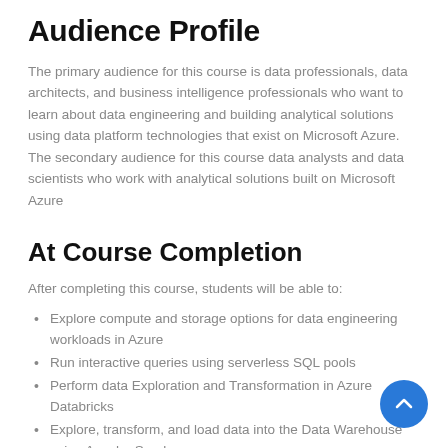Audience Profile
The primary audience for this course is data professionals, data architects, and business intelligence professionals who want to learn about data engineering and building analytical solutions using data platform technologies that exist on Microsoft Azure. The secondary audience for this course data analysts and data scientists who work with analytical solutions built on Microsoft Azure
At Course Completion
After completing this course, students will be able to:
Explore compute and storage options for data engineering workloads in Azure
Run interactive queries using serverless SQL pools
Perform data Exploration and Transformation in Azure Databricks
Explore, transform, and load data into the Data Warehouse using Apache Spark